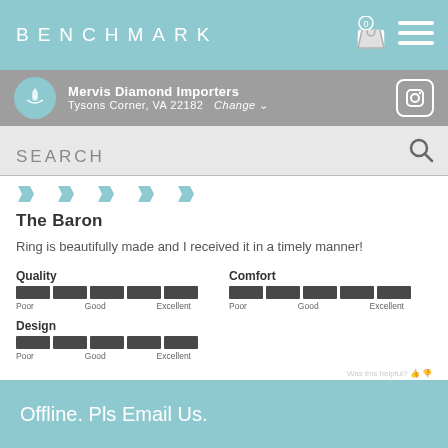BENCHMARK
Mervis Diamond Importers
Tysons Corner, VA 22182  Change
SEARCH
The Baron
Ring is beautifully made and I received it in a timely manner!
Quality
Poor  Good  Excellent
Comfort
Poor  Good  Excellent
Design
Poor  Good  Excellent
Offline. Pls Email Us.